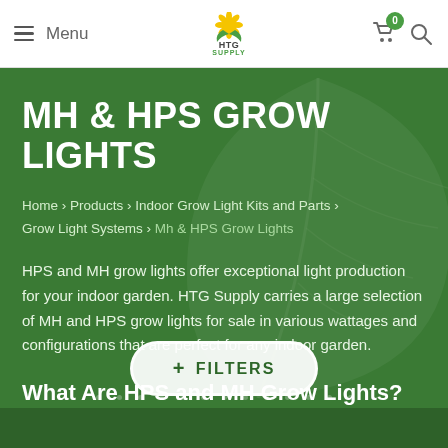Menu | HTG SUPPLY | Cart (0) | Search
MH & HPS GROW LIGHTS
Home › Products › Indoor Grow Light Kits and Parts › Grow Light Systems › Mh & HPS Grow Lights
HPS and MH grow lights offer exceptional light production for your indoor garden. HTG Supply carries a large selection of MH and HPS grow lights for sale in various wattages and configurations that are perfect for any indoor garden.
What Are HPS and MH Grow Lights?
+ FILTERS